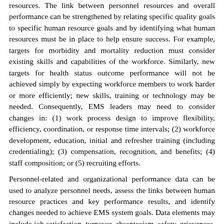resources. The link between personnel resources and overall performance can be strengthened by relating specific quality goals to specific human resource goals and by identifying what human resources must be in place to help ensure success. For example, targets for morbidity and mortality reduction must consider existing skills and capabilities of the workforce. Similarly, new targets for health status outcome performance will not be achieved simply by expecting workforce members to work harder or more efficiently; new skills, training or technology may be needed. Consequently, EMS leaders may need to consider changes in: (1) work process design to improve flexibility, efficiency, coordination, or response time intervals; (2) workforce development, education, initial and refresher training (including credentialing); (3) compensation, recognition, and benefits; (4) staff composition; or (5) recruiting efforts.
Personnel-related and organizational performance data can be used to analyze personnel needs, assess the links between human resource practices and key performance results, and identify changes needed to achieve EMS system goals. Data elements may include job satisfaction, turnover, absenteeism, safety, grievances, recognition, training, and information from exit interviews, as well as overall system strengths and weaknesses that could affect the agency's ability to fulfill human resource plan requirements.
In order to develop the full potential of EMS personnel, it is